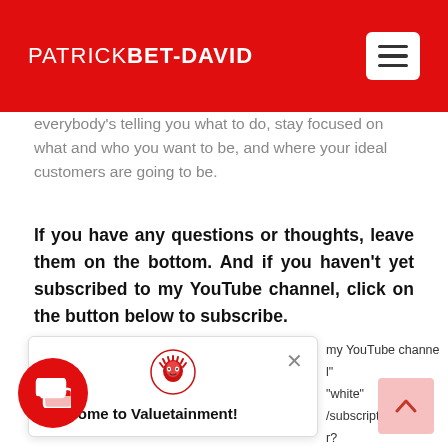PATRICKBET-DAVID
everybody's telling you what to do, stay focused on what and who you want to be, and where your ideal customers are going to be.
If you have any questions or thoughts, leave them on the bottom. And if you haven't yet subscribed to my YouTube channel, click on the button below to subscribe.
[Figure (screenshot): Welcome to Valuetainment popup with lion logo and close button]
my YouTube channel" "white" /subscription_center? add_user=patrickbetdavid" openin="_blank"]
ve a Comment